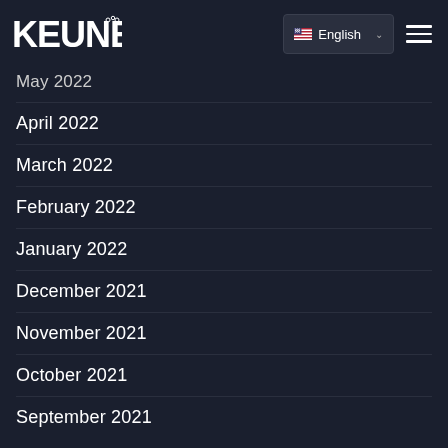KEUNE — English language selector and hamburger menu
May 2022
April 2022
March 2022
February 2022
January 2022
December 2021
November 2021
October 2021
September 2021